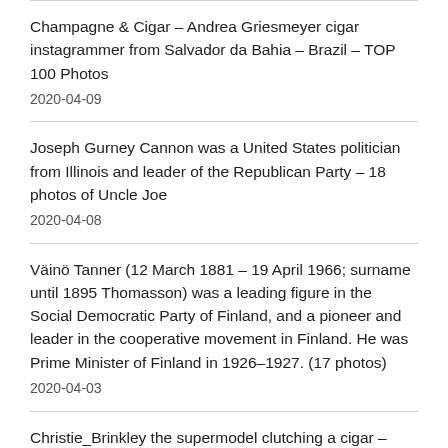Champagne & Cigar – Andrea Griesmeyer cigar instagrammer from Salvador da Bahia – Brazil – TOP 100 Photos
2020-04-09
Joseph Gurney Cannon was a United States politician from Illinois and leader of the Republican Party – 18 photos of Uncle Joe
2020-04-08
Väinö Tanner (12 March 1881 – 19 April 1966; surname until 1895 Thomasson) was a leading figure in the Social Democratic Party of Finland, and a pioneer and leader in the cooperative movement in Finland. He was Prime Minister of Finland in 1926–1927. (17 photos)
2020-04-03
Christie_Brinkley the supermodel clutching a cigar – She has decided that cigar smoking is a great way to meet